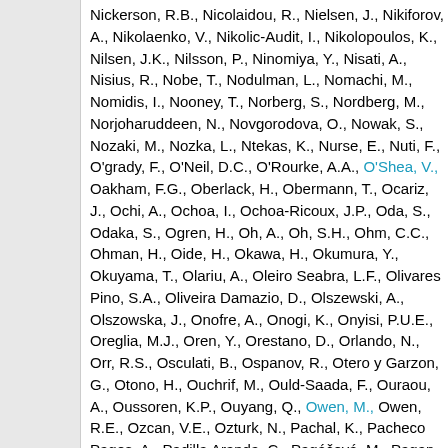Nickerson, R.B., Nicolaidou, R., Nielsen, J., Nikiforov, A., Nikolaenko, V., Nikolic-Audit, I., Nikolopoulos, K., Nilsen, J.K., Nilsson, P., Ninomiya, Y., Nisati, A., Nisius, R., Nobe, T., Nodulman, L., Nomachi, M., Nomidis, I., Nooney, T., Norberg, S., Nordberg, M., Norjoharuddeen, N., Novgorodova, O., Nowak, S., Nozaki, M., Nozka, L., Ntekas, K., Nurse, E., Nuti, F., O'grady, F., O'Neil, D.C., O'Rourke, A.A., O'Shea, V., Oakham, F.G., Oberlack, H., Obermann, T., Ocariz, J., Ochi, A., Ochoa, I., Ochoa-Ricoux, J.P., Oda, S., Odaka, S., Ogren, H., Oh, A., Oh, S.H., Ohm, C.C., Ohman, H., Oide, H., Okawa, H., Okumura, Y., Okuyama, T., Olariu, A., Oleiro Seabra, L.F., Olivares Pino, S.A., Oliveira Damazio, D., Olszewski, A., Olszowska, J., Onofre, A., Onogi, K., Onyisi, P.U.E., Oreglia, M.J., Oren, Y., Orestano, D., Orlando, N., Orr, R.S., Osculati, B., Ospanov, R., Otero y Garzon, G., Otono, H., Ouchrif, M., Ould-Saada, F., Ouraou, A., Oussoren, K.P., Ouyang, Q., Owen, M., Owen, R.E., Ozcan, V.E., Ozturk, N., Pachal, K., Pacheco Pages, A., Padilla Aranda, C., Pagáčová, M., Pagan Griso, S., Paige, F., Pais, P., Pajchel, K., Palacino, G., Palestini, S., Palka, M., Pallin, D., Palma, A., Panagiotopoulou,